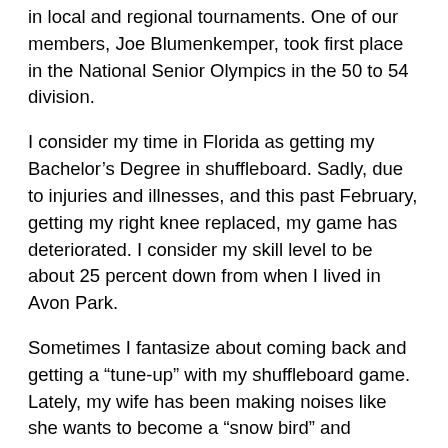in local and regional tournaments.  One of our members, Joe Blumenkemper, took first place in the National Senior Olympics in the 50 to 54 division.
I consider my time in Florida as getting my Bachelor’s Degree in shuffleboard.  Sadly, due to injuries and illnesses, and this past February, getting my right knee replaced, my game has deteriorated.  I consider my skill level to be about 25 percent down from when I lived in Avon Park.
Sometimes I fantasize about coming back and getting a “tune-up” with my shuffleboard game.  Lately, my wife has been making noises like she wants to become a “snow bird” and eventually move back to Florida full time.   I hope so,  now I want to go on to my Masters and PHD in shuffleboard.